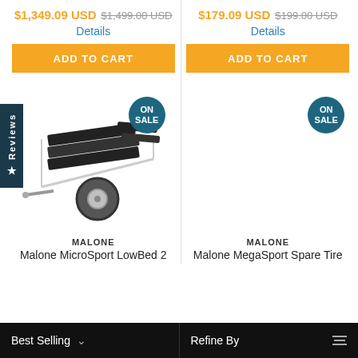$1,349.09 USD $1,499.00 USD
Details
ADD TO CART
[Figure (photo): Malone MicroSport LowBed 2 trailer with black foam bunks and a large tire, shown on white background. An orange 'ON SALE' badge overlays the image.]
MALONE
Malone MicroSport LowBed 2
$179.09 USD $199.00 USD
Details
ADD TO CART
[Figure (photo): Malone MegaSport Spare Tire product image (mostly blank in this view). An orange 'ON SALE' badge overlays the image.]
MALONE
Malone MegaSport Spare Tire
Best Selling   ∨     Refine By   ≡